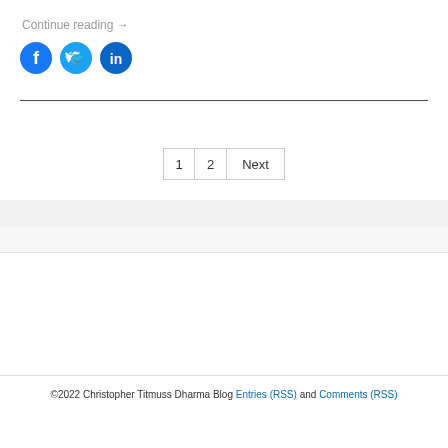Continue reading →
[Figure (illustration): Three circular social media share buttons: Facebook (blue), Twitter (light blue), LinkedIn (dark blue)]
1  2  Next
©2022 Christopher Titmuss Dharma Blog Entries (RSS) and Comments (RSS)